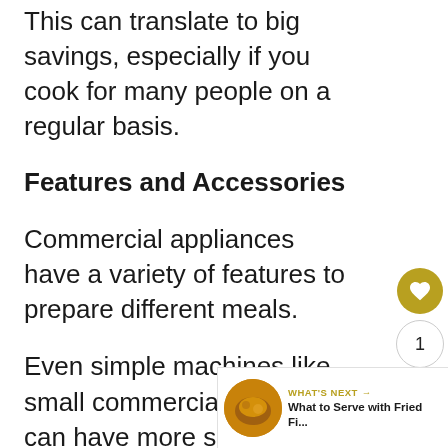This can translate to big savings, especially if you cook for many people on a regular basis.
Features and Accessories
Commercial appliances have a variety of features to prepare different meals.
Even simple machines like small commercial ovens can have more settings than home appliances.
Finding the Best Commercial Kitchen Appliance